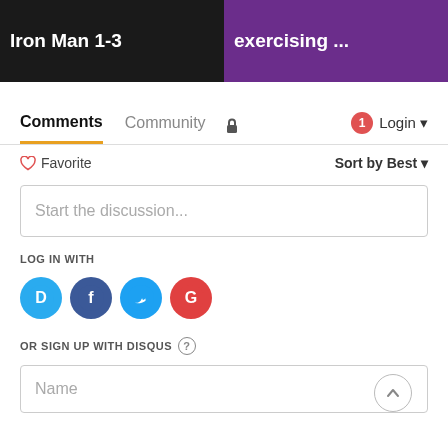[Figure (screenshot): Two thumbnail images side by side: left shows 'Iron Man 1-3' on dark background, right shows 'exercising ...' on purple background]
Comments   Community   🔒   1   Login
♡ Favorite   Sort by Best ▾
Start the discussion...
LOG IN WITH
[Figure (screenshot): Social login icons: Disqus (blue), Facebook (dark blue), Twitter (light blue), Google (red)]
OR SIGN UP WITH DISQUS ?
Name